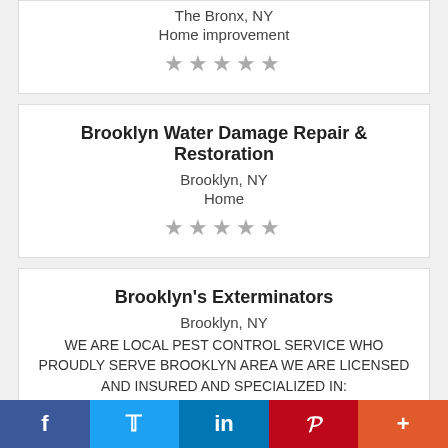The Bronx, NY
Home improvement
★★★★★
Brooklyn Water Damage Repair & Restoration
Brooklyn, NY
Home
★★★★★
Brooklyn's Exterminators
Brooklyn, NY
WE ARE LOCAL PEST CONTROL SERVICE WHO PROUDLY SERVE BROOKLYN AREA WE ARE LICENSED AND INSURED AND SPECIALIZED IN:
★★★★★